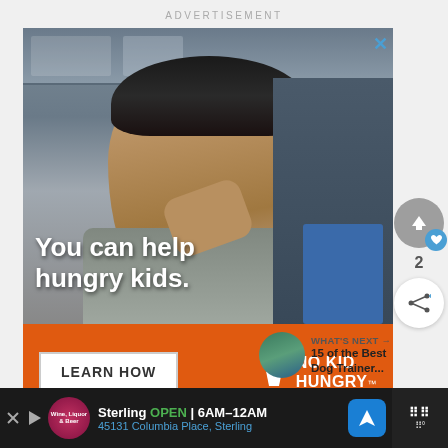ADVERTISEMENT
[Figure (photo): No Kid Hungry advertisement banner featuring a young child in a classroom setting with text 'You can help hungry kids.' and a 'LEARN HOW' button with No Kid Hungry logo on orange background]
[Figure (screenshot): Side UI with upvote button (gray circle with heart badge), vote count 2, and share button]
WHAT'S NEXT → 15 of the Best Dog Trainer...
Sterling OPEN | 6AM–12AM 45131 Columbia Place, Sterling